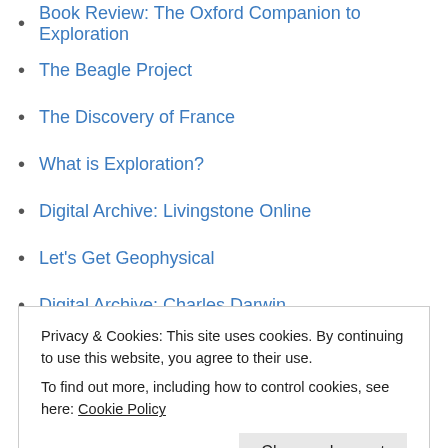Book Review: The Oxford Companion to Exploration
The Beagle Project
The Discovery of France
What is Exploration?
Digital Archive: Livingstone Online
Let's Get Geophysical
Digital Archive: Charles Darwin
The Reenacted Voyage
Famous Falling Objects
North By Degree
Touchdown! Mars Phoenix Lander
Mars Phoenix Mission
The North Pole Controversy
Privacy & Cookies: This site uses cookies. By continuing to use this website, you agree to their use. To find out more, including how to control cookies, see here: Cookie Policy
Close and accept
Popular vs Academic History